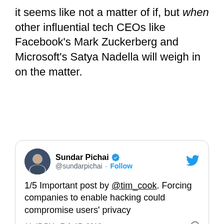it seems like not a matter of if, but when other influential tech CEOs like Facebook's Mark Zuckerberg and Microsoft's Satya Nadella will weigh in on the matter.
[Figure (screenshot): Embedded tweet by Sundar Pichai (@sundarpichai) with verified badge, Follow link, Twitter bird logo, tweet text '1/5 Important post by @tim_cook. Forcing companies to enable hacking could compromise users' privacy', timestamp '11:47 PM · Feb 17, 2016', info icon, likes count '2.5K', Reply, Copy link actions, and 'Read 146 replies' link.]